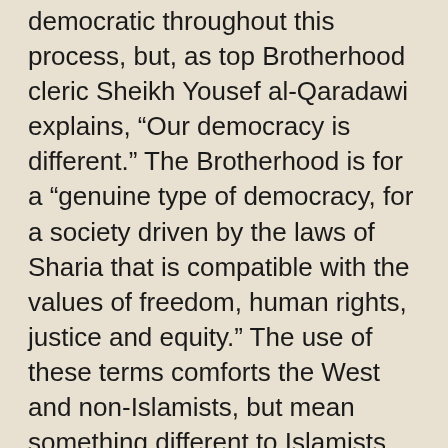democratic throughout this process, but, as top Brotherhood cleric Sheikh Yousef al-Qaradawi explains, “Our democracy is different.” The Brotherhood is for a “genuine type of democracy, for a society driven by the laws of Sharia that is compatible with the values of freedom, human rights, justice and equity.” The use of these terms comforts the West and non-Islamists, but mean something different to Islamists.
One question moving forward will be how the Brotherhood’s Caliphate agenda clashes with Iran’s Shiite Crescent agenda. The sides are already in conflict in Syria. The relationship between the Arab Islamists led by the Brotherhood and the Turkish Islamists further needs to be understood.